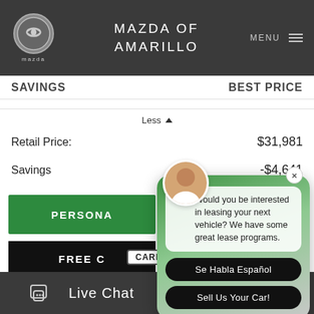MAZDA OF AMARILLO  MENU
SAVINGS  BEST PRICE
Less ▲
Retail Price:  $31,981
Savings  -$4,641
PERSONALIZE
FREE CARFAX
VALUE YOUR TRADE
[Figure (screenshot): Chat popup with avatar showing message: 'Would you be interested in leasing your next vehicle? We have some great lease programs.' with buttons 'Se Habla Español' and 'Sell Us Your Car!']
Would you be interested in leasing your next vehicle? We have some great lease programs.
Se Habla Español
Sell Us Your Car!
[Figure (logo): CARFAX logo badge]
Live Chat